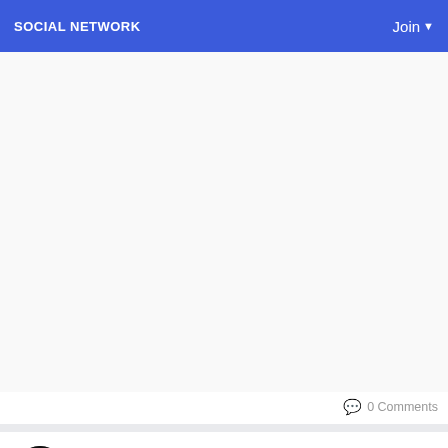SOCIAL NETWORK   Join
[Figure (screenshot): White empty image area placeholder for a post image]
0 Comments
Digital Web Services
a month ago · 🌐
🎯🎯Explore Our Top Digital Marketing Services 2022 - #DigitalWebServices 🔷
What we are offering↗
🔷#SEO (Search Engine Optimization)
◻PPC (Pay Per Click)
Read more